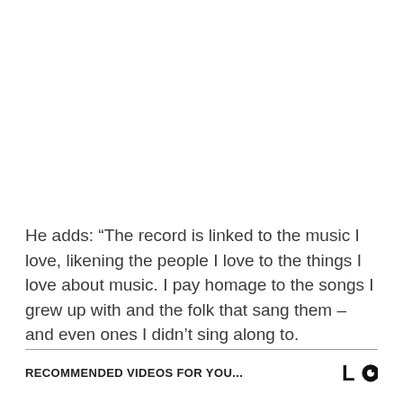He adds: “The record is linked to the music I love, likening the people I love to the things I love about music. I pay homage to the songs I grew up with and the folk that sang them – and even ones I didn’t sing along to.
RECOMMENDED VIDEOS FOR YOU...